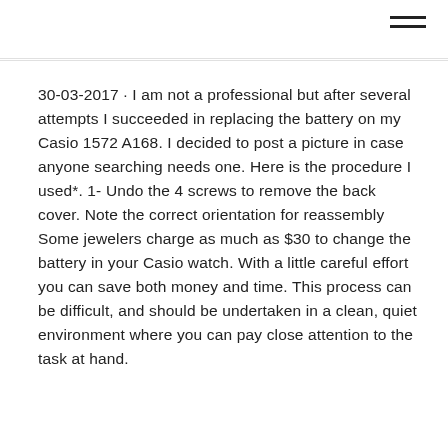30-03-2017 · I am not a professional but after several attempts I succeeded in replacing the battery on my Casio 1572 A168. I decided to post a picture in case anyone searching needs one. Here is the procedure I used*. 1- Undo the 4 screws to remove the back cover. Note the correct orientation for reassembly Some jewelers charge as much as $30 to change the battery in your Casio watch. With a little careful effort you can save both money and time. This process can be difficult, and should be undertaken in a clean, quiet environment where you can pay close attention to the task at hand.